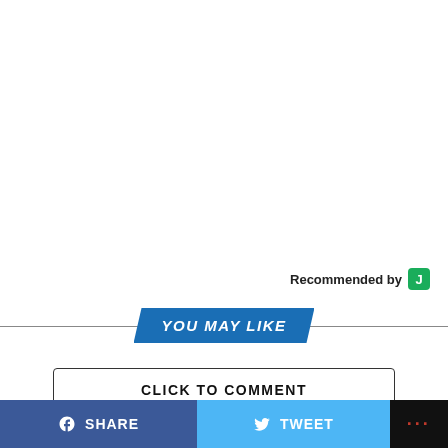Recommended by J
YOU MAY LIKE
CLICK TO COMMENT
SHARE   TWEET   ...